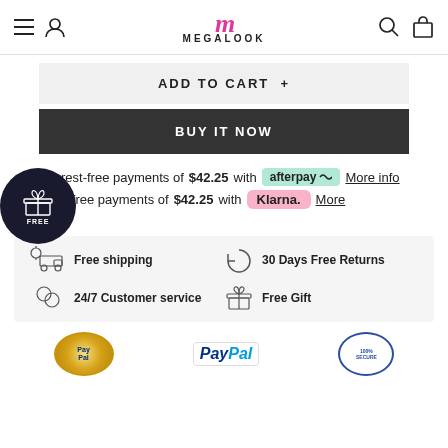MEGALOOK
ADD TO CART +
BUY IT NOW
or 4 interest-free payments of $42.25 with afterpay More info
4 interest-free payments of $42.25 with Klarna. More info
Free shipping
30 Days Free Returns
24/7 Customer service
Free Gift
[Figure (logo): PayPal and 100% Secure payment logos at the bottom]